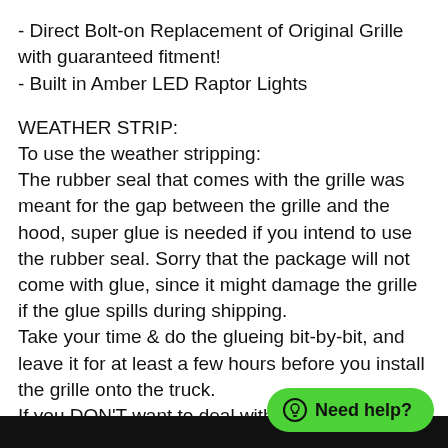- Direct Bolt-on Replacement of Original Grille with guaranteed fitment!
- Built in Amber LED Raptor Lights
WEATHER STRIP:
To use the weather stripping:
The rubber seal that comes with the grille was meant for the gap between the grille and the hood, super glue is needed if you intend to use the rubber seal. Sorry that the package will not come with glue, since it might damage the grille if the glue spills during shipping.
Take your time & do the glueing bit-by-bit, and leave it for at least a few hours before you install the grille onto the truck.
If you DON'T want to deal with the weather strip, use this method: